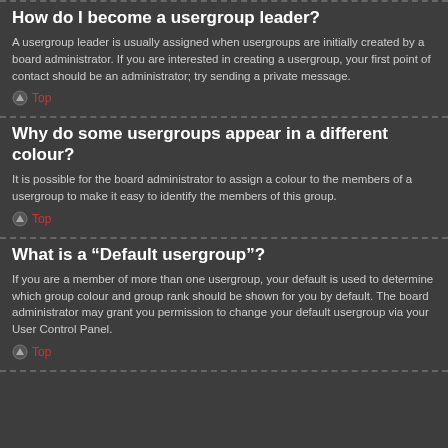How do I become a usergroup leader?
A usergroup leader is usually assigned when usergroups are initially created by a board administrator. If you are interested in creating a usergroup, your first point of contact should be an administrator; try sending a private message.
Top
Why do some usergroups appear in a different colour?
It is possible for the board administrator to assign a colour to the members of a usergroup to make it easy to identify the members of this group.
Top
What is a “Default usergroup”?
If you are a member of more than one usergroup, your default is used to determine which group colour and group rank should be shown for you by default. The board administrator may grant you permission to change your default usergroup via your User Control Panel.
Top